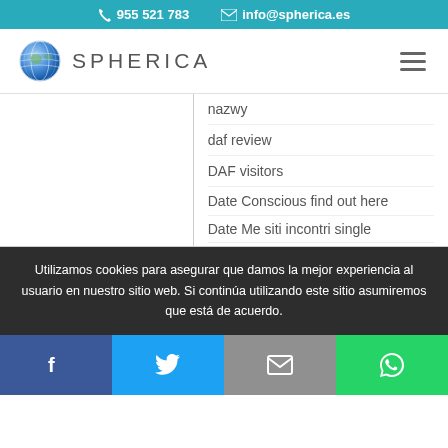955 521 783   info@spherica.es
[Figure (logo): Spherica logo with globe icon]
nazwy
daf review
DAF visitors
Date Conscious find out here
Date Me siti incontri single
datehookup fr review
Utilizamos cookies para asegurar que damos la mejor experiencia al usuario en nuestro sitio web. Si continúa utilizando este sitio asumiremos que está de acuerdo.
Social share buttons: Facebook, Twitter, Email, WhatsApp